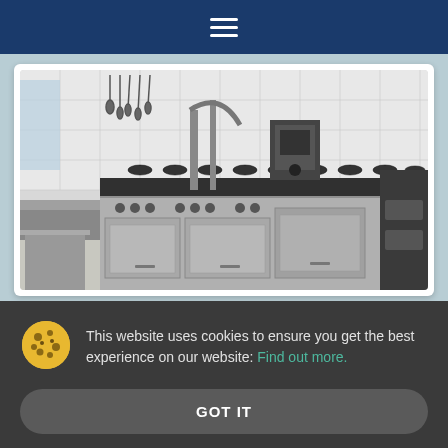Navigation menu (hamburger icon)
[Figure (photo): Commercial kitchen with stainless steel cooking equipment, gas burners, ovens, and utensils on white tiled walls]
[Figure (photo): Partial view of a second card/image (gray, cropped)]
This website uses cookies to ensure you get the best experience on our website: Find out more.
GOT IT